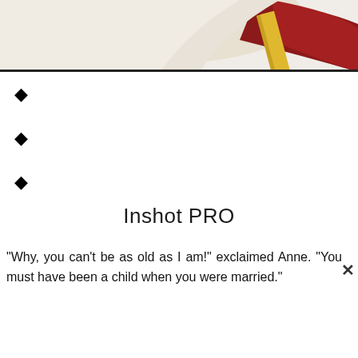[Figure (illustration): Partial illustration showing cream/beige and red fabric or clothing with a gold/yellow rod or bar element, cropped at the top of the page.]
◆
◆
◆
Inshot PRO
"Why, you can't be as old as I am!" exclaimed Anne. "You must have been a child when you were married."